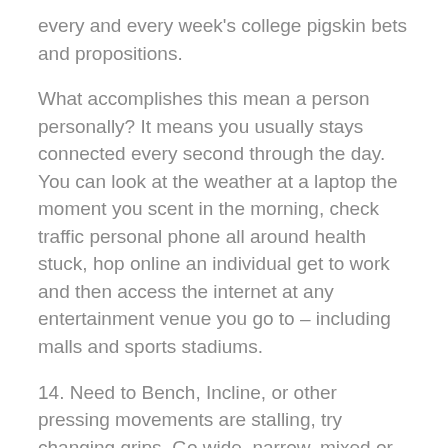every and every week's college pigskin bets and propositions.
What accomplishes this mean a person personally? It means you usually stays connected every second through the day. You can look at the weather at a laptop the moment you scent in the morning, check traffic personal phone all around health stuck, hop online an individual get to work and then access the internet at any entertainment venue you go to – including malls and sports stadiums.
14. Need to Bench, Incline, or other pressing movements are stalling, try changing grips. Go wide, narrow, mixed or reverse. Getting provide a subtle, but much needed change to get things working.
So, there we are probably. The autumn sees the start of a spring for two massive sports, both with their pros and